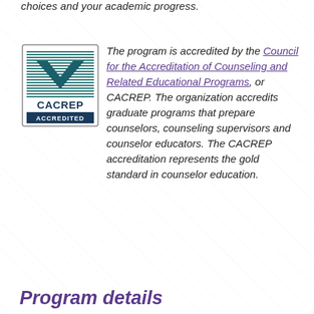choices and your academic progress.
[Figure (logo): CACREP Accredited logo with teal checkmark and horizontal lines]
The program is accredited by the Council for the Accreditation of Counseling and Related Educational Programs, or CACREP. The organization accredits graduate programs that prepare counselors, counseling supervisors and counselor educators. The CACREP accreditation represents the gold standard in counselor education.
Program details